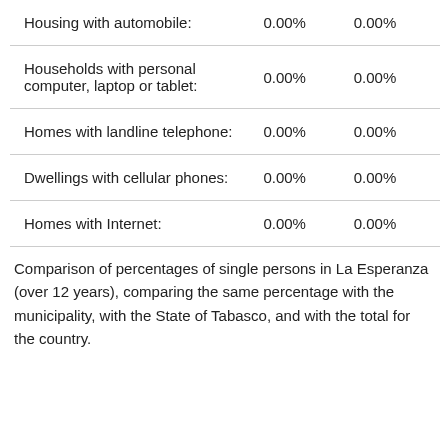|  |  |  |
| --- | --- | --- |
| Housing with automobile: | 0.00% | 0.00% |
| Households with personal computer, laptop or tablet: | 0.00% | 0.00% |
| Homes with landline telephone: | 0.00% | 0.00% |
| Dwellings with cellular phones: | 0.00% | 0.00% |
| Homes with Internet: | 0.00% | 0.00% |
Comparison of percentages of single persons in La Esperanza (over 12 years), comparing the same percentage with the municipality, with the State of Tabasco, and with the total for the country.